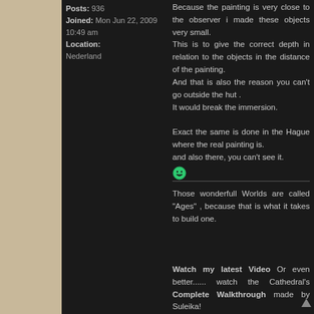Posts: 936
Joined: Mon Jun 22, 2009 10:49 am
Location: Nederland
Because the painting is very close to the observer i made these objects very small.
This is to give the correct depth in relation to the objects in the distance of the painting.
And that is also the reason you can't go outside the hut .
It would break the immersion.

Exact the same is done in the Hague where the real painting is.
and also there, you can't see it.
Those wonderfull Worlds are called "Ages" , because that is what it takes to build one.
Watch my latest Video Or even better...... watch the Cathedral's Complete Walkthrough made by Suleika!